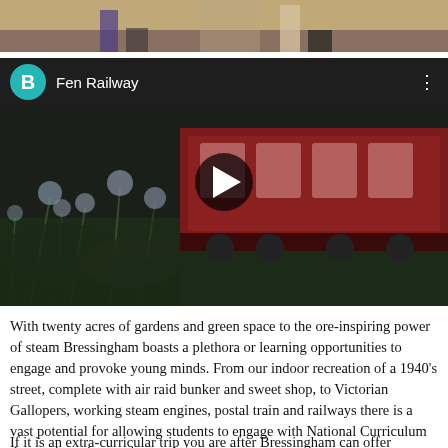[Figure (photo): Top portion of a photo showing people standing near a table or furniture, cropped at the bottom]
[Figure (screenshot): YouTube-style video thumbnail for 'Fen Railway' showing a red steam train with wildflowers in the foreground, dark scenic background, with a play button in the center and a teal channel icon with letter B]
With twenty acres of gardens and green space to the ore-inspiring power of steam Bressingham boasts a plethora or learning opportunities to engage and provoke young minds. From our indoor recreation of a 1940's street, complete with air raid bunker and sweet shop, to Victorian Gallopers, working steam engines, postal train and railways there is a vast potential for allowing students to engage with National Curriculum themes in an immersive environment.
If it is an extra-curricular trip you are after Bressingham can offer